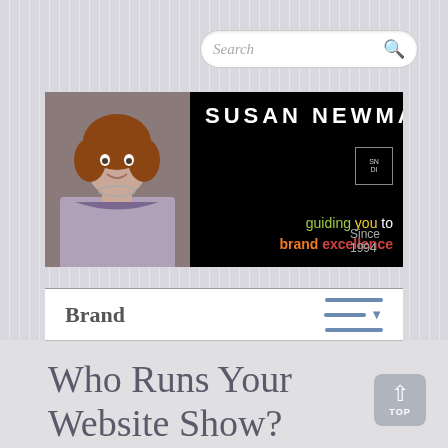[Figure (screenshot): Search bar with placeholder text 'Search' and magnifying glass icon]
[Figure (logo): Susan Newman Design banner with photo of woman, company name 'SUSAN NEWMAN DESIGN', tagline 'guiding you to brand excellence', 'Since 1994', and SN DI logo box]
Brand
Who Runs Your Website Show?